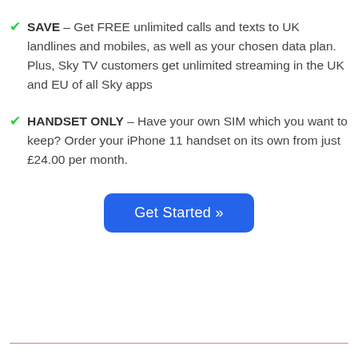SAVE – Get FREE unlimited calls and texts to UK landlines and mobiles, as well as your chosen data plan. Plus, Sky TV customers get unlimited streaming in the UK and EU of all Sky apps
HANDSET ONLY – Have your own SIM which you want to keep? Order your iPhone 11 handset on its own from just £24.00 per month.
Get Started »